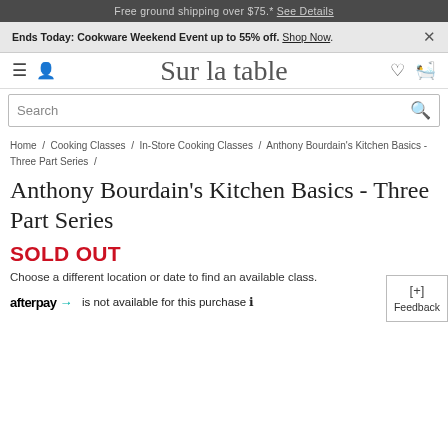Free ground shipping over $75.* See Details
Ends Today: Cookware Weekend Event up to 55% off. Shop Now. ×
[Figure (logo): Sur la table script logo with hamburger menu, user icon, heart icon, and bag icon in navigation bar]
Search
Home / Cooking Classes / In-Store Cooking Classes / Anthony Bourdain's Kitchen Basics - Three Part Series /
Anthony Bourdain's Kitchen Basics - Three Part Series
SOLD OUT
Choose a different location or date to find an available class.
afterpay is not available for this purchase ℹ